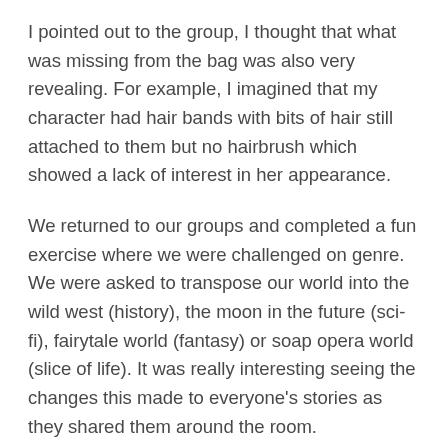I pointed out to the group, I thought that what was missing from the bag was also very revealing. For example, I imagined that my character had hair bands with bits of hair still attached to them but no hairbrush which showed a lack of interest in her appearance.
We returned to our groups and completed a fun exercise where we were challenged on genre. We were asked to transpose our world into the wild west (history), the moon in the future (sci-fi), fairytale world (fantasy) or soap opera world (slice of life). It was really interesting seeing the changes this made to everyone's stories as they shared them around the room.
The afternoon was all...
[Figure (photo): A photograph showing what appears to be papers or documents on a surface, partially visible at the bottom right of the page.]